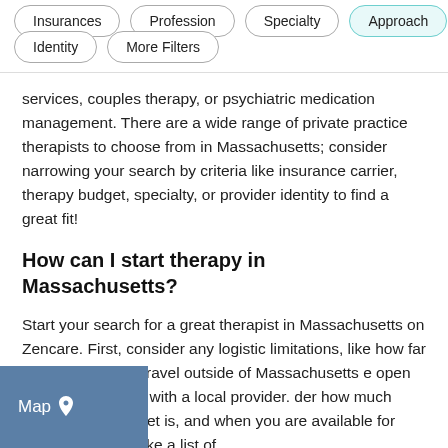Insurances
Profession
Specialty
Approach
Identity
More Filters
services, couples therapy, or psychiatric medication management. There are a wide range of private practice therapists to choose from in Massachusetts; consider narrowing your search by criteria like insurance carrier, therapy budget, specialty, or provider identity to find a great fit!
How can I start therapy in Massachusetts?
Start your search for a great therapist in Massachusetts on Zencare. First, consider any logistic limitations, like how far you are willing to travel outside of Massachusetts [open to online sessions with a local provider. [consider how much your therapy budget is, and when you are available for therapy. Then, make a list of
[Figure (other): Map overlay button with location pin icon]